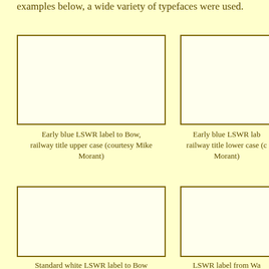examples below, a wide variety of typefaces were used.
[Figure (photo): Empty cream/yellow box representing early blue LSWR label to Bow, railway title upper case]
[Figure (photo): Empty cream/yellow box representing early blue LSWR label, railway title lower case]
Early blue LSWR label to Bow, railway title upper case (courtesy Mike Morant)
Early blue LSWR lab railway title lower case (c Morant)
[Figure (photo): Empty cream/yellow box representing standard white LSWR label to Bow]
[Figure (photo): Empty cream/yellow box representing LSWR label from Wa justified to Bow]
Standard white LSWR label to Bow
LSWR label from Wa justified) to Bow (cou Morant)
[Figure (photo): Partial empty cream/yellow box at bottom right]